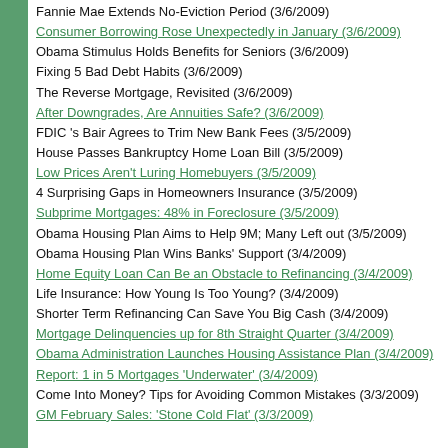Fannie Mae Extends No-Eviction Period (3/6/2009)
Consumer Borrowing Rose Unexpectedly in January (3/6/2009)
Obama Stimulus Holds Benefits for Seniors (3/6/2009)
Fixing 5 Bad Debt Habits (3/6/2009)
The Reverse Mortgage, Revisited (3/6/2009)
After Downgrades, Are Annuities Safe? (3/6/2009)
FDIC 's Bair Agrees to Trim New Bank Fees (3/5/2009)
House Passes Bankruptcy Home Loan Bill (3/5/2009)
Low Prices Aren't Luring Homebuyers (3/5/2009)
4 Surprising Gaps in Homeowners Insurance (3/5/2009)
Subprime Mortgages: 48% in Foreclosure (3/5/2009)
Obama Housing Plan Aims to Help 9M; Many Left out (3/5/2009)
Obama Housing Plan Wins Banks' Support (3/4/2009)
Home Equity Loan Can Be an Obstacle to Refinancing (3/4/2009)
Life Insurance: How Young Is Too Young? (3/4/2009)
Shorter Term Refinancing Can Save You Big Cash (3/4/2009)
Mortgage Delinquencies up for 8th Straight Quarter (3/4/2009)
Obama Administration Launches Housing Assistance Plan (3/4/2009)
Report: 1 in 5 Mortgages 'Underwater' (3/4/2009)
Come Into Money? Tips for Avoiding Common Mistakes (3/3/2009)
GM February Sales: 'Stone Cold Flat' (3/3/2009)